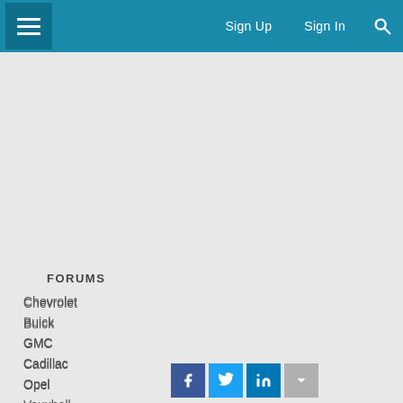Sign Up  Sign In
FORUMS
Chevrolet
Buick
GMC
Cadillac
Opel
Vauxhall
Holden
[Figure (infographic): Social media share buttons: Facebook, Twitter, LinkedIn, and a grey more/down button]